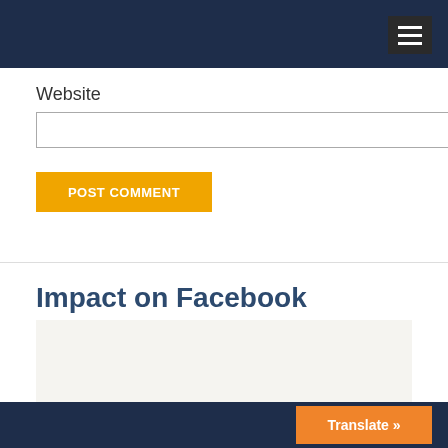Website
POST COMMENT
Impact on Facebook
Translate »